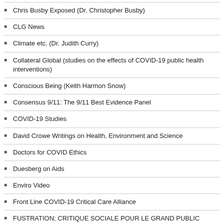Chris Busby Exposed (Dr. Christopher Busby)
CLG News
Climate etc. (Dr. Judith Curry)
Collateral Global (studies on the effects of COVID-19 public health interventions)
Conscious Being (Keith Harmon Snow)
Consensus 9/11: The 9/11 Best Evidence Panel
COVID-19 Studies
David Crowe Writings on Health, Environment and Science
Doctors for COVID Ethics
Duesberg on Aids
Enviro Video
Front Line COVID-19 Critical Care Alliance
FUSTRATION; CRITIQUE SOCIALE POUR LE GRAND PUBLIC
Immanuel Wallerstein